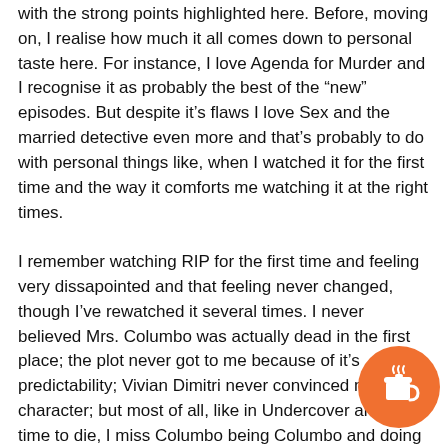with the strong points highlighted here. Before, moving on, I realise how much it all comes down to personal taste here. For instance, I love Agenda for Murder and I recognise it as probably the best of the "new" episodes. But despite it's flaws I love Sex and the married detective even more and that's probably to do with personal things like, when I watched it for the first time and the way it comforts me watching it at the right times.
I remember watching RIP for the first time and feeling very dissapointed and that feeling never changed, though I've rewatched it several times. I never believed Mrs. Columbo was actually dead in the first place; the plot never got to me because of it's predictability; Vivian Dimitri never convinced me as a character; but most of all, like in Undercover and No time to die, I miss Columbo being Columbo and doing his Columbo stuff. It's just not there in this one, the script could have been written for any (married) detective. This has nothing to do with the quality of acting, I agree with CB that Peter Falk is actually in excellent form.
As an episode of a random detective show I may have rated it better, but that's hard to tell and will remain speculation. As
[Figure (illustration): Orange circular button with a coffee cup icon (Buy Me a Coffee widget)]